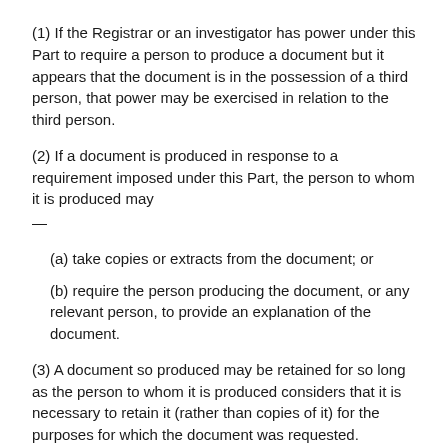(1) If the Registrar or an investigator has power under this Part to require a person to produce a document but it appears that the document is in the possession of a third person, that power may be exercised in relation to the third person.
(2) If a document is produced in response to a requirement imposed under this Part, the person to whom it is produced may —
(a) take copies or extracts from the document; or
(b) require the person producing the document, or any relevant person, to provide an explanation of the document.
(3) A document so produced may be retained for so long as the person to whom it is produced considers that it is necessary to retain it (rather than copies of it) for the purposes for which the document was requested.
(4) If the person to whom a document is so produced has reasonable grounds for believing —